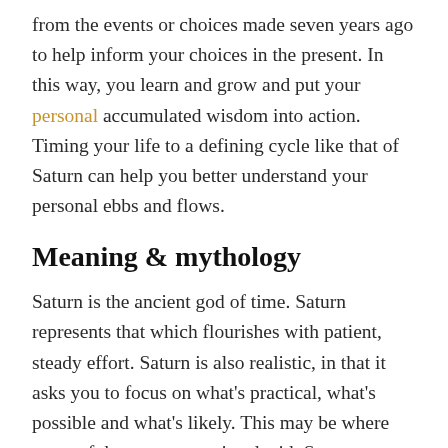from the events or choices made seven years ago to help inform your choices in the present. In this way, you learn and grow and put your personal accumulated wisdom into action. Timing your life to a defining cycle like that of Saturn can help you better understand your personal ebbs and flows.
Meaning & mythology
Saturn is the ancient god of time. Saturn represents that which flourishes with patient, steady effort. Saturn is also realistic, in that it asks you to focus on what's practical, what's possible and what's likely. This may be where some of the worry associated with Saturn comes from — that often you get so swept up in the dream of what might be that you lose touch with what is.